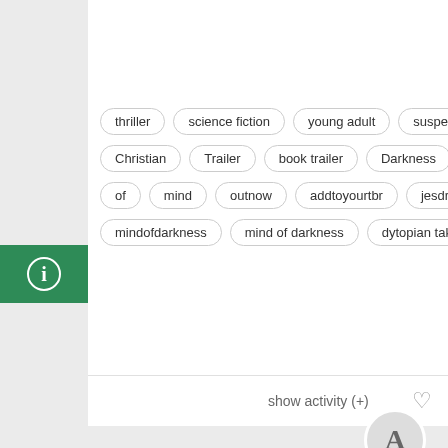[Figure (screenshot): A web page screenshot showing a book/media site. The left sidebar has a green info button. The main area shows tag pills (thriller, science fiction, young adult, suspense, Christian, Trailer, book trailer, Darkness, Sc..., of, mind, outnow, addtoyourtbr, jesdrew, mindofdarkness, mind of darkness, dytopian takeover). Below is a 'show activity (+)' link with a heart icon. Then a post card with avatar 'A', post type TEXT, date 2018-02-28 02:42, title 'No Ordinary Star Book', blog 'Raven Reads: Rebecca's Book Blog!'. Bottom shows a thumbnail image and 'back to top' button.]
thriller
science fiction
young adult
suspense
Christian
Trailer
book trailer
Darkness
Sc
of
mind
outnow
addtoyourtbr
jesdrew
mindofdarkness
mind of darkness
dytopian takeover
show activity (+)
No Ordinary Star Book
TEXT  2018-02-28 02:42
Raven Reads: Rebecca's Book Blog!
back to top
M. C. FRANK